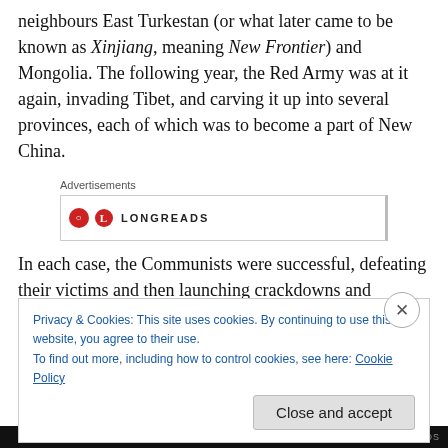neighbours East Turkestan (or what later came to be known as Xinjiang, meaning New Frontier) and Mongolia. The following year, the Red Army was at it again, invading Tibet, and carving it up into several provinces, each of which was to become a part of New China.
[Figure (other): Longreads advertisement banner with red circle logo and LONGREADS text]
In each case, the Communists were successful, defeating their victims and then launching crackdowns and pogroms
Privacy & Cookies: This site uses cookies. By continuing to use this website, you agree to their use. To find out more, including how to control cookies, see here: Cookie Policy